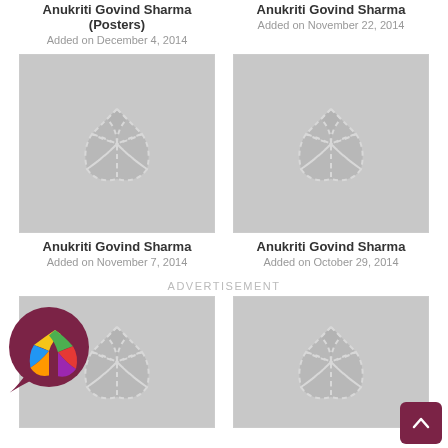Anukriti Govind Sharma (Posters)
Added on December 4, 2014
Anukriti Govind Sharma
Added on November 22, 2014
[Figure (illustration): Gray placeholder image with film reel logo - left top]
[Figure (illustration): Gray placeholder image with film reel logo - right top]
Anukriti Govind Sharma
Added on November 7, 2014
Anukriti Govind Sharma
Added on October 29, 2014
ADVERTISEMENT
[Figure (logo): Colorful chat bubble logo with film reel icon]
[Figure (illustration): Gray placeholder image with film reel logo - bottom left]
[Figure (illustration): Gray placeholder image with film reel logo - bottom right]
[Figure (illustration): Scroll to top button - dark red arrow up]